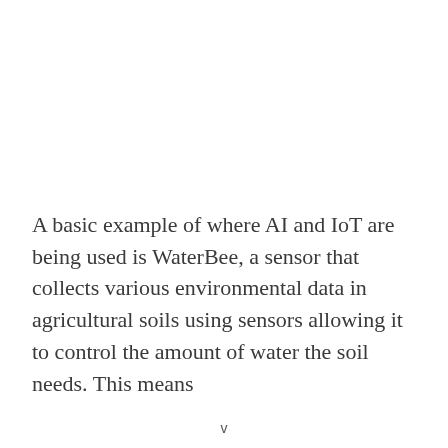A basic example of where AI and IoT are being used is WaterBee, a sensor that collects various environmental data in agricultural soils using sensors allowing it to control the amount of water the soil needs. This means
v